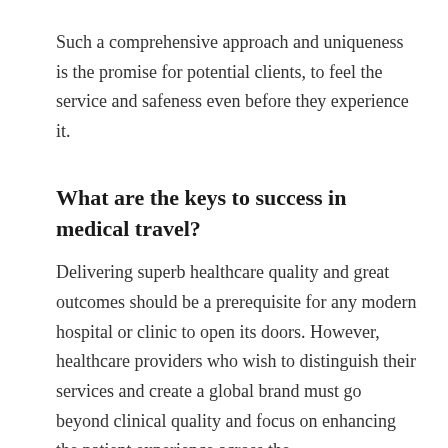Such a comprehensive approach and uniqueness is the promise for potential clients, to feel the service and safeness even before they experience it.
What are the keys to success in medical travel?
Delivering superb healthcare quality and great outcomes should be a prerequisite for any modern hospital or clinic to open its doors. However, healthcare providers who wish to distinguish their services and create a global brand must go beyond clinical quality and focus on enhancing the patient experience across the